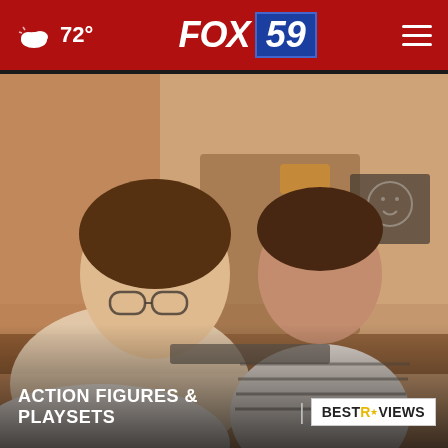72° | FOX 59
[Figure (photo): An adult with glasses leaning over a table toward a young child in a striped shirt, in a warmly lit home setting with toys and a small chalkboard in the background.]
ACTION FIGURES & PLAYSETS
[Figure (logo): BestReviews logo in a white box with yellow star icon]